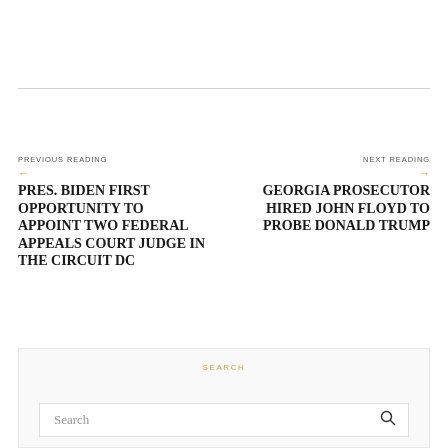PREVIOUS READING
PRES. BIDEN FIRST OPPORTUNITY TO APPOINT TWO FEDERAL APPEALS COURT JUDGE IN THE CIRCUIT DC
NEXT READING
GEORGIA PROSECUTOR HIRED JOHN FLOYD TO PROBE DONALD TRUMP
SEARCH